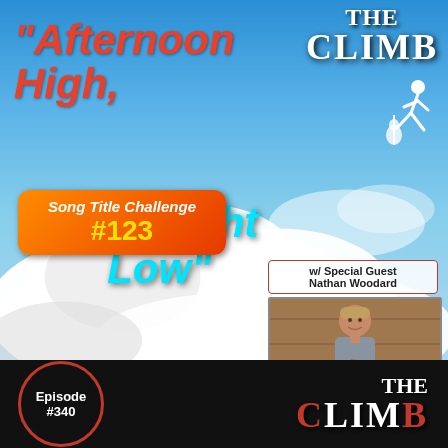[Figure (illustration): Podcast episode cover art for 'The Climb' podcast. Features a blue sky with white cumulative clouds background. Top-left shows song title text 'Afternoon High, Overnight Low' in red and cyan italic bold font. Top-right shows 'THE CLIMB' logo in white serif font with a white silhouette climber figure. Middle area has a box 'w/ Special Guest Nathan Woodard' with a photo of a smiling man holding a guitar. Bottom-left has an orange-red gradient badge reading 'Song Title Challenge #123'. Bottom area is black with a red-outlined circle showing 'Episode #340' on the left and 'THE CLIMB' text logo on the right.]